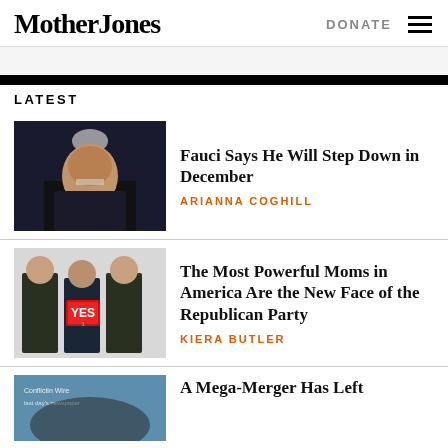Mother Jones
DONATE
LATEST
[Figure (photo): Photo of Dr. Fauci in a dark setting, wearing a suit, looking stern]
Fauci Says He Will Step Down in December
ARIANNA COGHILL
[Figure (photo): Three women in dark t-shirts holding a YES sign, activist moms]
The Most Powerful Moms in America Are the New Face of the Republican Party
KIERA BUTLER
[Figure (photo): Partial photo for A Mega-Merger Has Left article]
A Mega-Merger Has Left